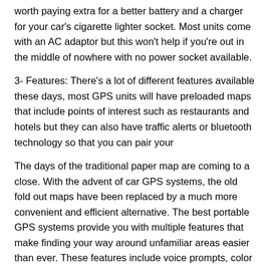worth paying extra for a better battery and a charger for your car's cigarette lighter socket. Most units come with an AC adaptor but this won't help if you're out in the middle of nowhere with no power socket available.
3- Features: There's a lot of different features available these days, most GPS units will have preloaded maps that include points of interest such as restaurants and hotels but they can also have traffic alerts or bluetooth technology so that you can pair your
The days of the traditional paper map are coming to a close. With the advent of car GPS systems, the old fold out maps have been replaced by a much more convenient and efficient alternative. The best portable GPS systems provide you with multiple features that make finding your way around unfamiliar areas easier than ever. These features include voice prompts, color touch screens and pre-loaded maps that cover the entire United States.